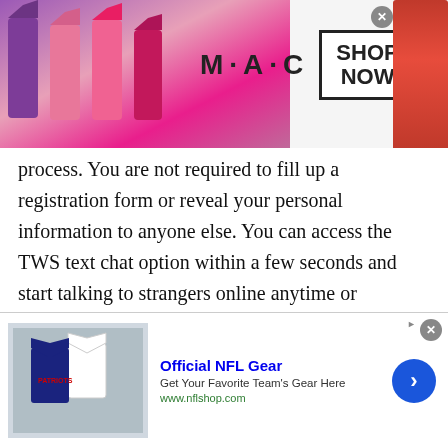[Figure (photo): MAC Cosmetics advertisement banner showing colorful lipsticks on the left, MAC logo and SHOP NOW box in the center, and a red lipstick on the right. Close button (X) in top-right area.]
process. You are not required to fill up a registration form or reveal your personal information to anyone else. You can access the TWS text chat option within a few seconds and start talking to strangers online anytime or anywhere. Yes, whether you start talking to strangers in Armenia or wherever you are, you can freely text strangers without any limit. Yes, there is no limit when it comes to sending a text to random strangers.
Moreover, if you want to make your plain text
[Figure (screenshot): NFL Official Gear advertisement at the bottom showing jerseys image on left, text 'Official NFL Gear - Get Your Favorite Team's Gear Here - www.nflshop.com' in center, and a blue circular arrow button on right. Close button at top right.]